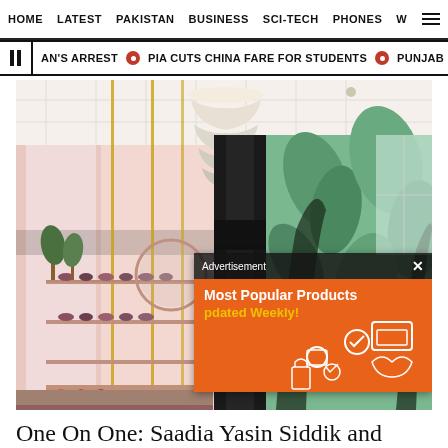HOME  LATEST  PAKISTAN  BUSINESS  SCI-TECH  PHONES  W ☰
AN'S ARREST  🔴 PIA CUTS CHINA FARE FOR STUDENTS  🔴 PUNJAB MINISTER DIGS
[Figure (photo): Interior of a fashion boutique with pink walls, gold metal rod display stands, shelves with shoes/sandals, a circular mirror, a sculptural paper chandelier hanging from the white coffered ceiling, and green tropical plant wallpaper on the right side. An advertisement overlay is visible in the lower right: 'Advertisement' header with X close button, and an orange banner reading 'Most Popular Products | Updated Weekly!' with shopping icons.]
One On One: Saadia Yasin Siddik and Miara Shaikh